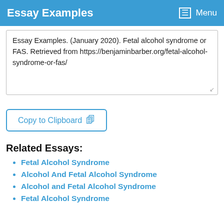Essay Examples  Menu
Essay Examples. (January 2020). Fetal alcohol syndrome or FAS. Retrieved from https://benjaminbarber.org/fetal-alcohol-syndrome-or-fas/
Copy to Clipboard
Related Essays:
Fetal Alcohol Syndrome
Alcohol And Fetal Alcohol Syndrome
Alcohol and Fetal Alcohol Syndrome
Fetal Alcohol Syndrome